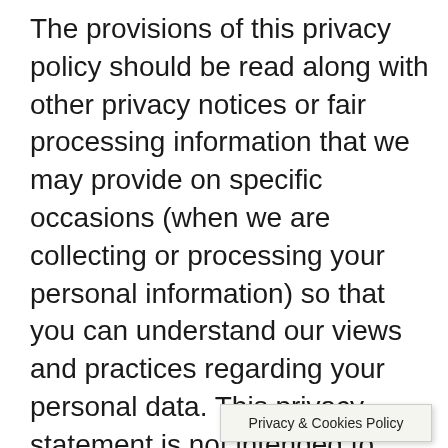The provisions of this privacy policy should be read along with other privacy notices or fair processing information that we may provide on specific occasions (when we are collecting or processing your personal information) so that you can understand our views and practices regarding your personal data. This privacy statement is not intended to override any such privacy notices or information.

In compliance w
Privacy & Cookies Policy